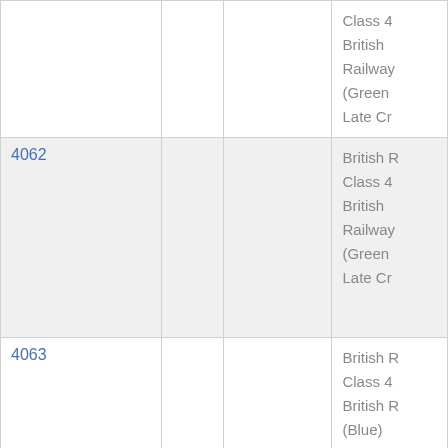| Name/Number |  |  | Description |
| --- | --- | --- | --- |
|  |  |  | Class 4
British
Railway
(Green
Late Cr |
| 4062 |  |  | British R
Class 4
British
Railway
(Green
Late Cr |
| 4063 |  |  | British R
Class 4
British R
(Blue) |
| ... |  | ... | British... |